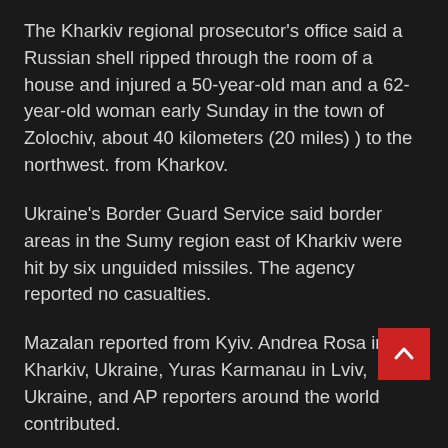The Kharkiv regional prosecutor’s office said a Russian shell ripped through the room of a house and injured a 50-year-old man and a 62-year-old woman early Sunday in the town of Zolochiv, about 40 kilometers (20 miles) ) to the northwest. from Kharkov.
Ukraine’s Border Guard Service said border areas in the Sumy region east of Kharkiv were hit by six unguided missiles. The agency reported no casualties.
Mazalan reported from Kyiv. Andrea Rosa in Kharkiv, Ukraine, Yuras Karmanau in Lviv, Ukraine, and AP reporters around the world contributed.
This version has been corrected to correct the spelling of Pokrovsk in the date line.
Follow AP’s coverage of the war in Ukraine at